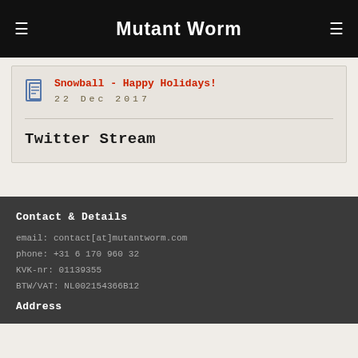Mutant Worm
Snowball - Happy Holidays!
22 Dec 2017
Twitter Stream
Contact & Details
email: contact[at]mutantworm.com
phone: +31 6 170 960 32
KVK-nr: 01139355
BTW/VAT: NL002154366B12
Address